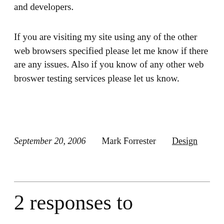and developers.
If you are visiting my site using any of the other web browsers specified please let me know if there are any issues. Also if you know of any other web broswer testing services please let us know.
September 20, 2006   Mark Forrester   Design
2 responses to